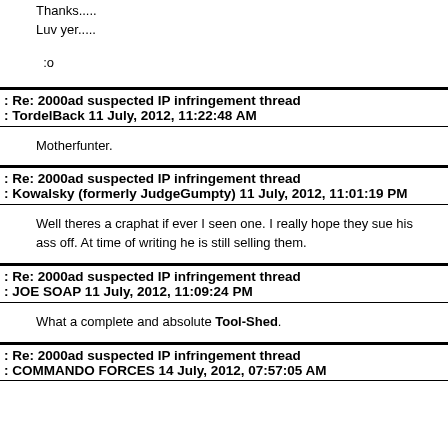Thanks.....
Luv yer.....
:o
Re: 2000ad suspected IP infringement thread
TordelBack 11 July, 2012, 11:22:48 AM
Motherfunter.
Re: 2000ad suspected IP infringement thread
Kowalsky (formerly JudgeGumpty) 11 July, 2012, 11:01:19 PM
Well theres a craphat if ever I seen one. I really hope they sue his ass off. At time of writing he is still selling them.
Re: 2000ad suspected IP infringement thread
JOE SOAP 11 July, 2012, 11:09:24 PM
What a complete and absolute Tool-Shed.
Re: 2000ad suspected IP infringement thread
COMMANDO FORCES 14 July, 2012, 07:57:05 AM